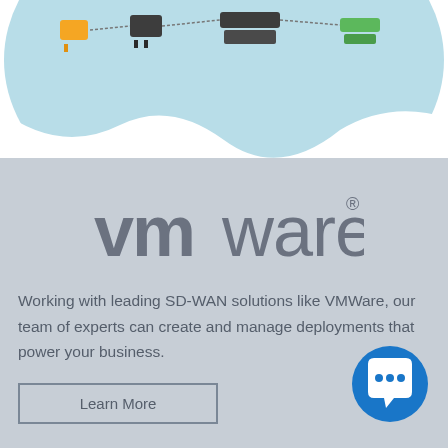[Figure (illustration): Partial top of a circular SD-WAN network diagram illustration with light blue background showing network icons and devices, cropped at the top of the page.]
[Figure (logo): VMware logo in grey text with registered trademark symbol]
Working with leading SD-WAN solutions like VMWare, our team of experts can create and manage deployments that power your business.
Learn More
[Figure (illustration): Blue circular chat bubble icon with three dots indicating a messaging/chat feature, positioned in the bottom right corner.]